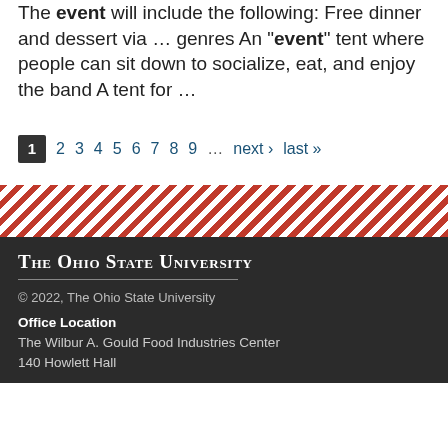The event will include the following: Free dinner and dessert via ... genres An "event" tent where people can sit down to socialize, eat, and enjoy the band A tent for ...
Pagination: 1 (current), 2, 3, 4, 5, 6, 7, 8, 9, ..., next ›, last »
[Figure (illustration): Diagonal red and white stripe decorative band separator]
The Ohio State University | © 2022, The Ohio State University | Office Location: The Wilbur A. Gould Food Industries Center, 140 Howlett Hall